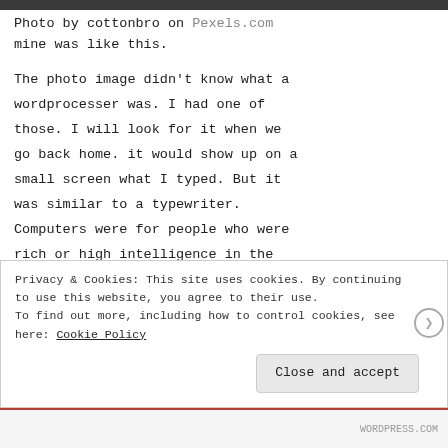[Figure (photo): Dark photo strip at top of page]
Photo by cottonbro on Pexels.com mine was like this.
The photo image didn't know what a wordprocesser was. I had one of those. I will look for it when we go back home. it would show up on a small screen what I typed. But it was similar to a typewriter. Computers were for people who were rich or high intelligence in the
Privacy & Cookies: This site uses cookies. By continuing to use this website, you agree to their use. To find out more, including how to control cookies, see here: Cookie Policy
Close and accept